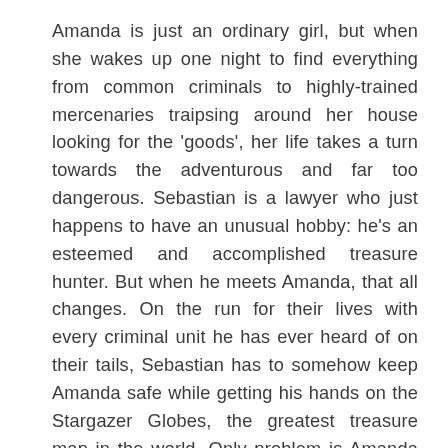Amanda is just an ordinary girl, but when she wakes up one night to find everything from common criminals to highly-trained mercenaries traipsing around her house looking for the 'goods', her life takes a turn towards the adventurous and far too dangerous. Sebastian is a lawyer who just happens to have an unusual hobby: he's an esteemed and accomplished treasure hunter. But when he meets Amanda, that all changes. On the run for their lives with every criminal unit he has ever heard of on their tails, Sebastian has to somehow keep Amanda safe while getting his hands on the Stargazer Globes, the greatest treasure map in the world. Only problem is Amanda screams too much. But then again, Sebastian has a problem too, he lies.